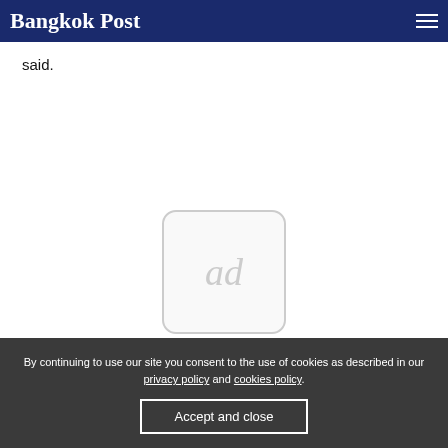Bangkok Post
said.
[Figure (other): Advertisement placeholder box with 'ad' text]
By continuing to use our site you consent to the use of cookies as described in our privacy policy and cookies policy.
Accept and close